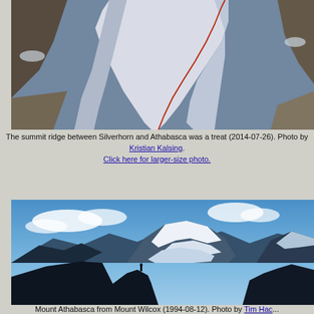[Figure (photo): Aerial or ground-level view of a snow-covered summit ridge between Silverhorn and Athabasca mountains, with a red line/rope visible along the ridge spine, rocky terrain visible on sides.]
The summit ridge between Silverhorn and Athabasca was a treat (2014-07-26). Photo by Kristian Kalsing. Click here for larger-size photo.
[Figure (photo): Mount Athabasca viewed from Mount Wilcox (1994-08-12). A person silhouetted on a dark rocky peak in the foreground, with the glaciated peak of Mount Athabasca and blue sky with clouds behind.]
Mount Athabasca from Mount Wilcox (1994-08-12). Photo by Tim Hac...